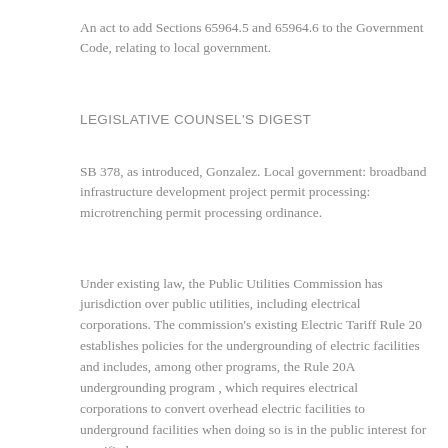An act to add Sections 65964.5 and 65964.6 to the Government Code, relating to local government.
LEGISLATIVE COUNSEL'S DIGEST
SB 378, as introduced, Gonzalez. Local government: broadband infrastructure development project permit processing: microtrenching permit processing ordinance.
Under existing law, the Public Utilities Commission has jurisdiction over public utilities, including electrical corporations. The commission's existing Electric Tariff Rule 20 establishes policies for the undergrounding of electric facilities and includes, among other programs, the Rule 20A undergrounding program , which requires electrical corporations to convert overhead electric facilities to underground facilities when doing so is in the public interest for specified reasons.